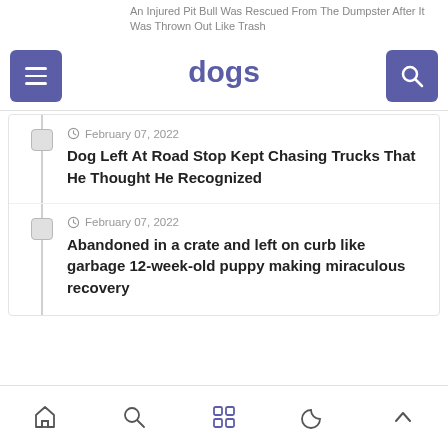An Injured Pit Bull Was Rescued From The Dumpster After It Was Thrown Out Like Trash
dogs
February 07, 2022 — Dog Left At Road Stop Kept Chasing Trucks That He Thought He Recognized
February 07, 2022 — Abandoned in a crate and left on curb like garbage 12-week-old puppy making miraculous recovery
Home | Search | Grid | Night | Up